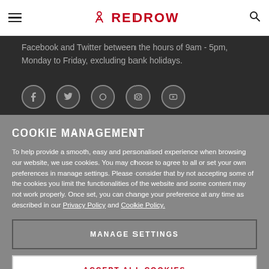REDROW
Facebook and Twitter between the hours of 9am - 5pm, Monday to Friday, excluding bank holidays.
[Figure (other): Five circular social media icons (Facebook, Twitter, Pinterest, Instagram, YouTube) on dark background]
COOKIE MANAGEMENT
To help provide a smooth, easy and personalised experience when browsing our website, we use cookies. You may choose to agree to all or set your own preferences in manage settings. Please consider that by not accepting some of the cookies you limit the functionalities of the website and some content may not work properly. Once set, you can change your preference at any time as described in our Privacy Policy and Cookie Policy.
MANAGE SETTINGS
ACCEPT ALL COOKIES